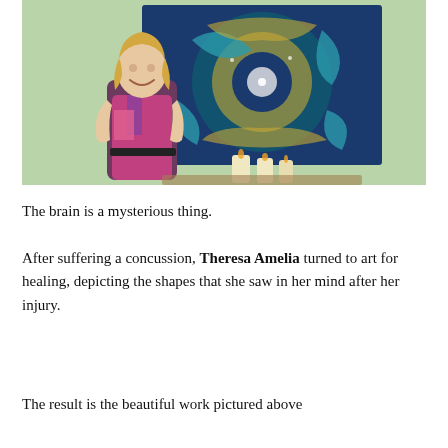[Figure (photo): A smiling blonde woman in a colorful sleeveless dress stands in front of a large decorative wall art piece featuring blue, teal, and gold mandala-like patterns on a light green wall. Candles are visible on a surface in front of her.]
The brain is a mysterious thing.
After suffering a concussion, Theresa Amelia turned to art for healing, depicting the shapes that she saw in her mind after her injury.
The result is the beautiful work pictured above